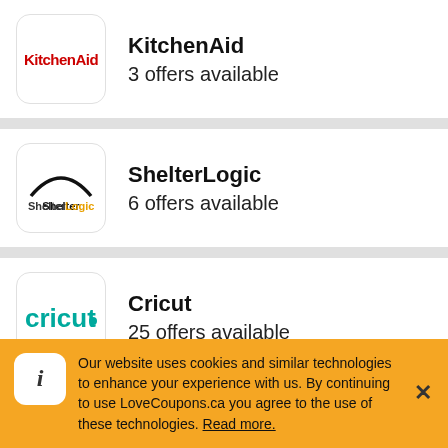KitchenAid
3 offers available
ShelterLogic
6 offers available
Cricut
25 offers available
Cub Cadet
3 offers available
Our website uses cookies and similar technologies to enhance your experience with us. By continuing to use LoveCoupons.ca you agree to the use of these technologies. Read more.